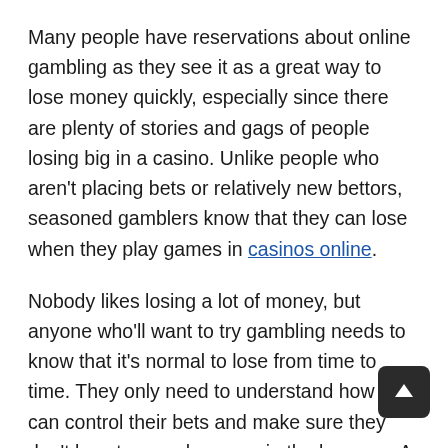Many people have reservations about online gambling as they see it as a great way to lose money quickly, especially since there are plenty of stories and gags of people losing big in a casino. Unlike people who aren't placing bets or relatively new bettors, seasoned gamblers know that they can lose when they play games in casinos online.
Nobody likes losing a lot of money, but anyone who'll want to try gambling needs to know that it's normal to lose from time to time. They only need to understand how they can control their bets and make sure they don't lose too much money in the long run. A gambler should limit how much they'll bet per game to keep their losses low.
Playing live games in an online casino lets people enjoy gambling as they see how the game goes on in real-time. T… gambler can see the dealer conducting the game and feel